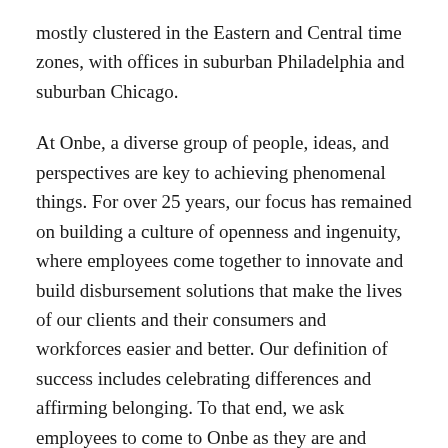mostly clustered in the Eastern and Central time zones, with offices in suburban Philadelphia and suburban Chicago.
At Onbe, a diverse group of people, ideas, and perspectives are key to achieving phenomenal things. For over 25 years, our focus has remained on building a culture of openness and ingenuity, where employees come together to innovate and build disbursement solutions that make the lives of our clients and their consumers and workforces easier and better. Our definition of success includes celebrating differences and affirming belonging. To that end, we ask employees to come to Onbe as they are and contribute their diverse perspective...
APPLY FOR JOB